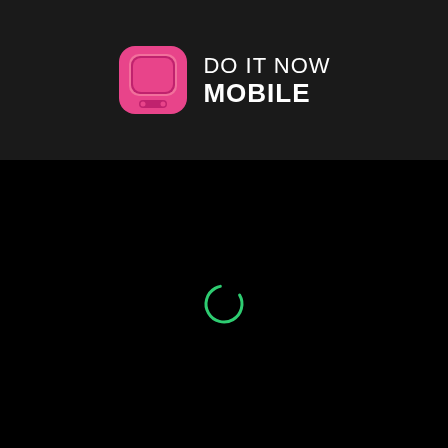[Figure (logo): Do It Now Mobile logo: pink rounded square icon with a smiling face on the left, and text 'DO IT NOW MOBILE' on the right in white on dark background]
[Figure (other): Dark black background with a small green circular loading spinner in the center-lower area]